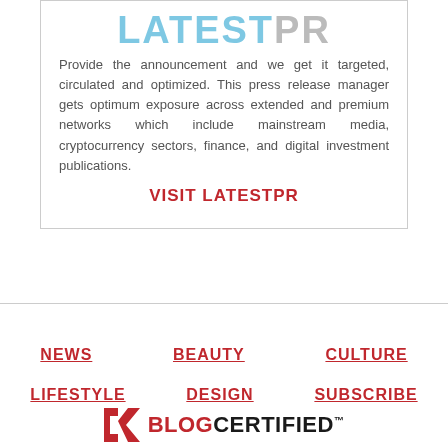[Figure (logo): LatestPR logo with LATEST in blue and PR in gray, large bold uppercase letters]
Provide the announcement and we get it targeted, circulated and optimized. This press release manager gets optimum exposure across extended and premium networks which include mainstream media, cryptocurrency sectors, finance, and digital investment publications.
VISIT LATESTPR
NEWS
BEAUTY
CULTURE
LIFESTYLE
DESIGN
SUBSCRIBE
[Figure (logo): BlogCertified logo with a red arrow/checkmark icon and BLOGCERTIFIED text]